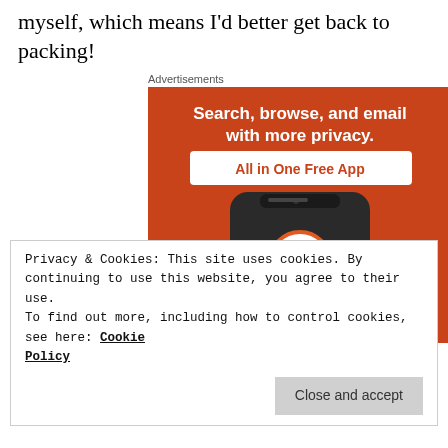myself, which means I'd better get back to packing!
Advertisements
[Figure (illustration): DuckDuckGo advertisement showing a smartphone with the DuckDuckGo app logo on an orange background with text: 'Search, browse, and email with more privacy. All in One Free App']
Privacy & Cookies: This site uses cookies. By continuing to use this website, you agree to their use.
To find out more, including how to control cookies, see here: Cookie Policy
Close and accept